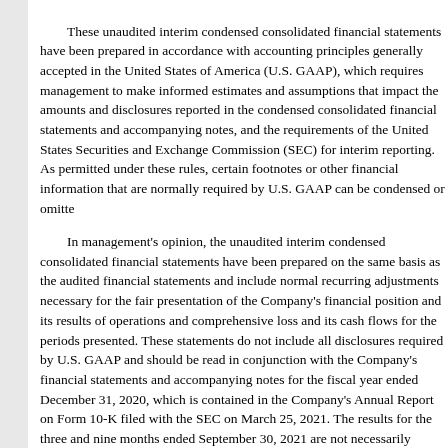These unaudited interim condensed consolidated financial statements have been prepared in accordance with accounting principles generally accepted in the United States of America (U.S. GAAP), which requires management to make informed estimates and assumptions that impact the amounts and disclosures reported in the condensed consolidated financial statements and accompanying notes, and the requirements of the United States Securities and Exchange Commission (SEC) for interim reporting. As permitted under these rules, certain footnotes or other financial information that are normally required by U.S. GAAP can be condensed or omitted.
In management's opinion, the unaudited interim condensed consolidated financial statements have been prepared on the same basis as the audited financial statements and include normal recurring adjustments necessary for the fair presentation of the Company's financial position and its results of operations and comprehensive loss and its cash flows for the periods presented. These statements do not include all disclosures required by U.S. GAAP and should be read in conjunction with the Company's financial statements and accompanying notes for the fiscal year ended December 31, 2020, which is contained in the Company's Annual Report on Form 10-K filed with the SEC on March 25, 2021. The results for the three and nine months ended September 30, 2021 are not necessarily indicative of results to be expected for the entire year ending December 31, 2021 or future operating periods.
The condensed consolidated financial statements have been prepared in accordance with U.S. GAAP, which requires management to make estimates and assumptions that affect the amounts...